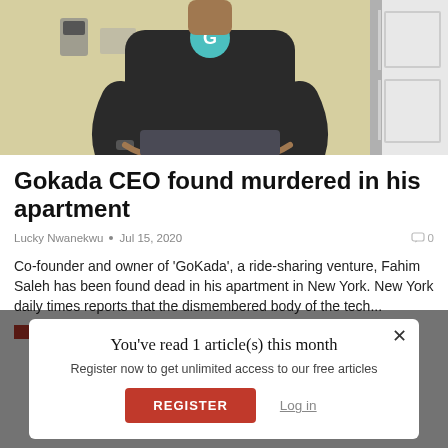[Figure (photo): A man in a dark t-shirt with a teal circular logo stands against a light wall. Only the torso and arms are visible. A white door frame is visible on the right side.]
Gokada CEO found murdered in his apartment
Lucky Nwanekwu • Jul 15, 2020  0
Co-founder and owner of 'GoKada', a ride-sharing venture, Fahim Saleh has been found dead in his apartment in New York. New York daily times reports that the dismembered body of the tech...
You've read 1 article(s) this month
Register now to get unlimited access to our free articles
REGISTER
Log in